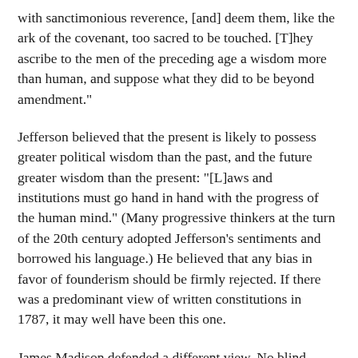with sanctimonious reverence, [and] deem them, like the ark of the covenant, too sacred to be touched. [T]hey ascribe to the men of the preceding age a wisdom more than human, and suppose what they did to be beyond amendment."
Jefferson believed that the present is likely to possess greater political wisdom than the past, and the future greater wisdom than the present: "[L]aws and institutions must go hand in hand with the progress of the human mind." (Many progressive thinkers at the turn of the 20th century adopted Jefferson's sentiments and borrowed his language.) He believed that any bias in favor of founderism should be firmly rejected. If there was a predominant view of written constitutions in 1787, it may well have been this one.
James Madison defended a different view. No blind worshiper of ancestors — we have seen how he supported certain new